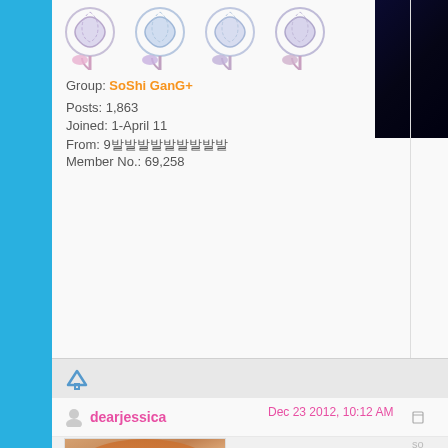[Figure (illustration): Four lollipop/candy swirl icons in pink/purple/blue tones arranged horizontally]
[Figure (photo): Dark night-time photo partially visible in top right corner]
Group: SoShi GanG+
Posts: 1,863
Joined: 1-April 11
From: 9뮤뮤뮤뮤뮤뮤뮤뮤뮤
Member No.: 69,258
dearjessica
Dec 23 2012, 10:12 AM
[Figure (photo): Young woman with long auburn/orange hair looking down, wearing purple top]
뮤뮤뮤뮤뮤뮤뮤뮤뮤 ^^
Gi